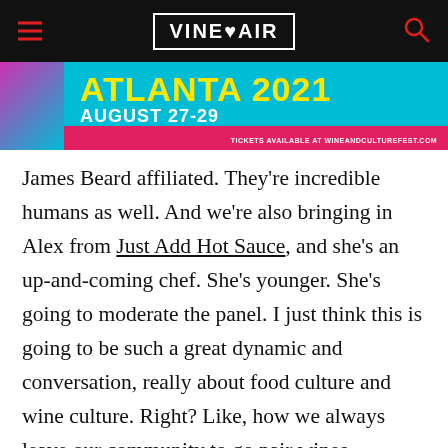VinePair
[Figure (infographic): Wine & Culture Fest advertisement banner: Atlanta 2021, August 27-29, tickets available at wineandculturefest.com]
James Beard affiliated. They’re incredible humans as well. And we’re also bringing in Alex from Just Add Hot Sauce, and she’s an up-and-coming chef. She’s younger. She’s going to moderate the panel. I just think this is going to be such a great dynamic and conversation, really about food culture and wine culture. Right? Like, how we always leave our community to go pair wines.
[Figure (infographic): Wine & Culture Fest advertisement banner: Atlanta 2021, August 27-29, tickets available at wineandculturefest.com]
A: Ye